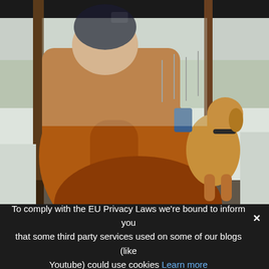[Figure (photo): A man wearing a dark beanie hat and brown/orange canvas work jacket sits on a wooden porch, holding a cup, looking out at a snowy winter landscape. A tan/yellow dog sits next to him also looking out at the snow. Wooden porch posts and bare snow-covered trees are visible in the background.]
To comply with the EU Privacy Laws we're bound to inform you that some third party services used on some of our blogs (like Youtube) could use cookies Learn more